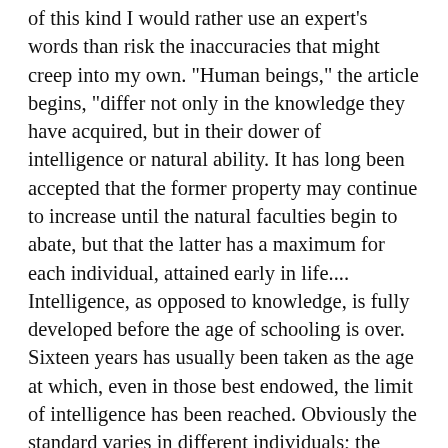of this kind I would rather use an expert's words than risk the inaccuracies that might creep into my own. "Human beings," the article begins, "differ not only in the knowledge they have acquired, but in their dower of intelligence or natural ability. It has long been accepted that the former property may continue to increase until the natural faculties begin to abate, but that the latter has a maximum for each individual, attained early in life.... Intelligence, as opposed to knowledge, is fully developed before the age of schooling is over. Sixteen years has usually been taken as the age at which, even in those best endowed, the limit of intelligence has been reached. Obviously the standard varies in different individuals; the degree of intelligence passed through by the more fortunate at the age of ten may be the final attainment of others, and all intermediate stages occur.... Mr H. H. Goddard, an American psychologist of international repute, classifies the intelligence of his countrymen into seven grades, but believes that in exceptional cases, amounting to four and a half per cent. of the population, a superlative standard is reached at the age of nineteen. On the other hand, seventy per cent. of the citizens of the United States have to carry on their lives with the